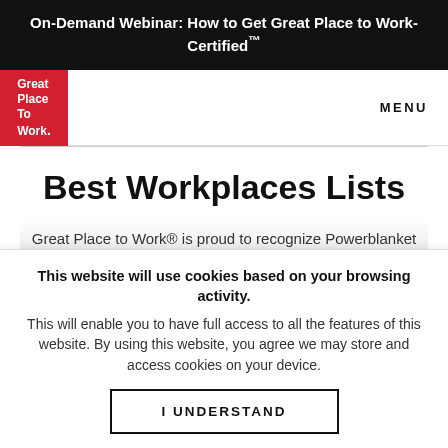On-Demand Webinar: How to Get Great Place to Work-Certified™
[Figure (logo): Great Place To Work logo — white text on red background]
MENU
Best Workplaces Lists
Great Place to Work® is proud to recognize Powerblanket
This website will use cookies based on your browsing activity.
This will enable you to have full access to all the features of this website. By using this website, you agree we may store and access cookies on your device.
I UNDERSTAND